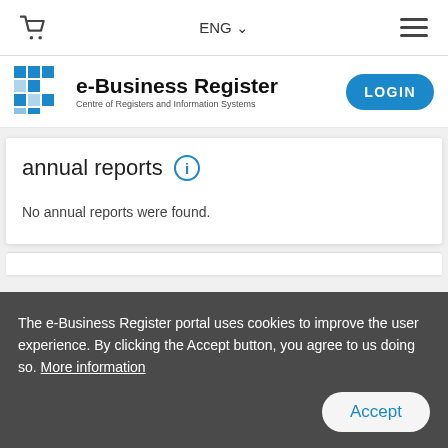ENG ▾
[Figure (logo): e-Business Register logo with blue mosaic pixel icon and subtitle: Centre of Registers and Information Systems]
annual reports
No annual reports were found.
The e-Business Register portal uses cookies to improve the user experience. By clicking the Accept button, you agree to us doing so. More information